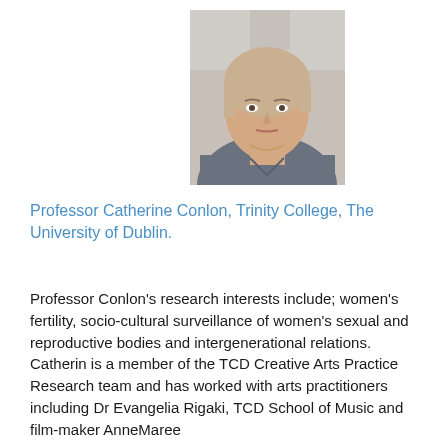[Figure (photo): Headshot photo of Professor Catherine Conlon, a woman with light skin and light hair, wearing a grey top, photographed from the shoulders up.]
Professor Catherine Conlon, Trinity College, The University of Dublin.
Professor Conlon's research interests include; women's fertility, socio-cultural surveillance of women's sexual and reproductive bodies and intergenerational relations. Catherin is a member of the TCD Creative Arts Practice Research team and has worked with arts practitioners including Dr Evangelia Rigaki, TCD School of Music and film-maker AnneMaree